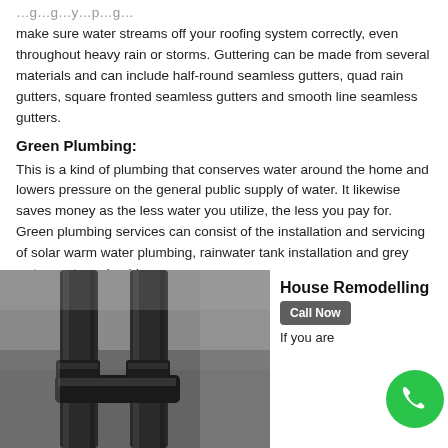make sure water streams off your roofing system correctly, even throughout heavy rain or storms. Guttering can be made from several materials and can include half-round seamless gutters, quad rain gutters, square fronted seamless gutters and smooth line seamless gutters.
Green Plumbing:
This is a kind of plumbing that conserves water around the home and lowers pressure on the general public supply of water. It likewise saves money as the less water you utilize, the less you pay for. Green plumbing services can consist of the installation and servicing of solar warm water plumbing, rainwater tank installation and grey water system plumbing.
[Figure (photo): Close-up black and white photo of plumbing pipes and faucet hardware]
House Remodelling
Call Now
If you are